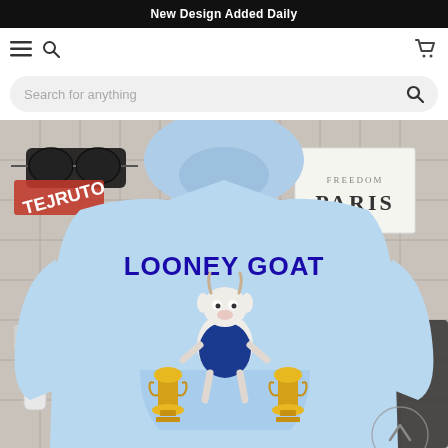New Design Added Daily
[Figure (screenshot): E-commerce website screenshot showing a light blue hoodie with 'LOONEY GOAT' text and cartoon goat graphic wearing a Warriors jersey with championship trophies. Navigation bar with hamburger menu, search, and cart icons. Search bar with 'Search for anything' placeholder.]